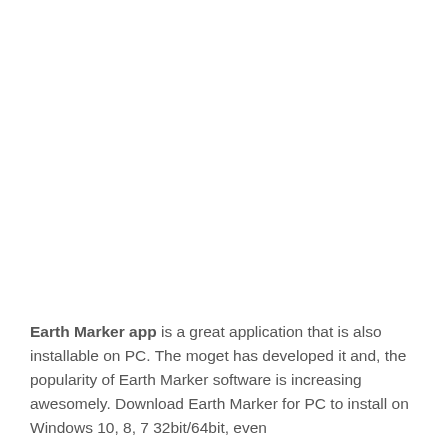Earth Marker app is a great application that is also installable on PC. The moget has developed it and, the popularity of Earth Marker software is increasing awesomely. Download Earth Marker for PC to install on Windows 10, 8, 7 32bit/64bit, even